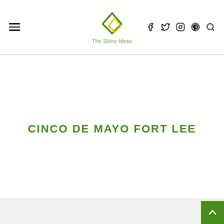The Shiny Ideas — navigation header with hamburger menu, logo, and social icons (Facebook, Twitter, Instagram, Pinterest, Search)
CINCO DE MAYO FORT LEE
[Figure (other): Gray content area at bottom of page with a green back-to-top arrow button in the bottom right corner]